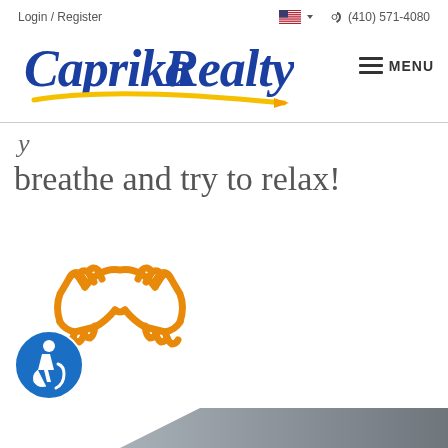Login / Register  (410) 571-4080
[Figure (logo): Caprika Realty logo with blue cursive text and yellow swoosh underline, with hamburger menu icon and MENU text]
breathe and try to relax!
[Figure (illustration): Orange outline handshake icon]
[Figure (illustration): Blue circular accessibility icon with wheelchair user]